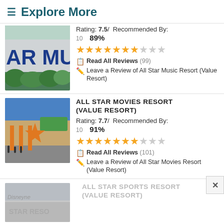Explore More
Rating: 7.5/ Recommended By: 10 89%
[Figure (photo): All Star Music Resort sign with blue letters 'AR MU' visible, green foliage in front]
Read All Reviews (99)
Leave a Review of All Star Music Resort (Value Resort)
ALL STAR MOVIES RESORT (VALUE RESORT)
Rating: 7.7/ Recommended By: 10 91%
[Figure (photo): All Star Movies Resort exterior with orange star structure and blue sky]
Read All Reviews (101)
Leave a Review of All Star Movies Resort (Value Resort)
ALL STAR SPORTS RESORT (VALUE RESORT)
[Figure (photo): All Star Sports Resort partially visible, faded/greyed out]